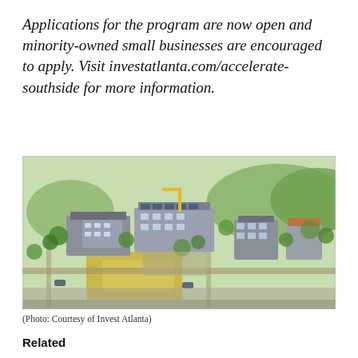Applications for the program are now open and minority-owned small businesses are encouraged to apply. Visit investatlanta.com/accelerate-southside for more information.
[Figure (illustration): Aerial perspective illustration/rendering of a mixed-use development with buildings, green spaces, parking areas, and tree-lined streets, appearing to be the Southside development in Atlanta.]
(Photo: Courtesy of Invest Atlanta)
Related